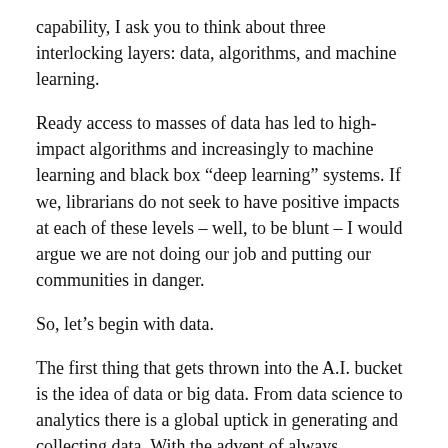capability, I ask you to think about three interlocking layers: data, algorithms, and machine learning.
Ready access to masses of data has led to high-impact algorithms and increasingly to machine learning and black box “deep learning” systems. If we, librarians do not seek to have positive impacts at each of these levels – well, to be blunt – I would argue we are not doing our job and putting our communities in danger.
So, let’s begin with data.
The first thing that gets thrown into the A.I. bucket is the idea of data or big data. From data science to analytics there is a global uptick in generating and collecting data. With the advent of always connected digital network devices – read smart phones – in the pockets of global citizens, data has become a new type of raw resource.